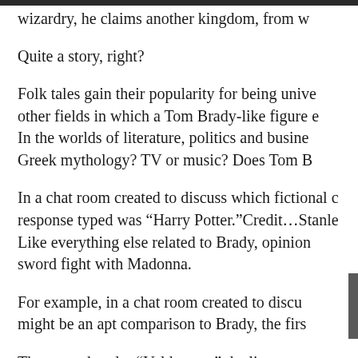wizardry, he claims another kingdom, from w
Quite a story, right?
Folk tales gain their popularity for being unive other fields in which a Tom Brady-like figure e In the worlds of literature, politics and busine Greek mythology? TV or music? Does Tom B
In a chat room created to discuss which fictional c response typed was “Harry Potter.”Credit…Stanle Like everything else related to Brady, opinion sword fight with Madonna.
For example, in a chat room created to discu might be an apt comparison to Brady, the firs
The second reply: “Voldemort,” the literary sa